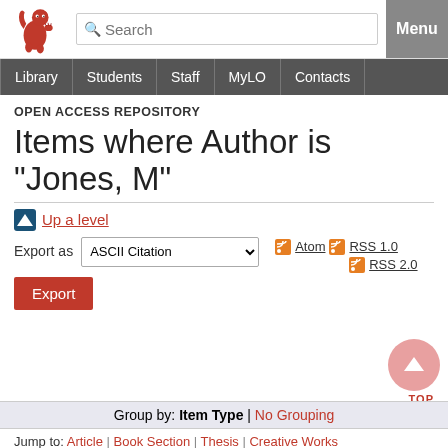[Figure (logo): Red lion rampant university logo]
Search | Menu | Library | Students | Staff | MyLO | Contacts
OPEN ACCESS REPOSITORY
Items where Author is "Jones, M"
Up a level
Export as ASCII Citation
Atom | RSS 1.0 | RSS 2.0
Export
Group by: Item Type | No Grouping
Jump to: Article | Book Section | Thesis | Creative Works